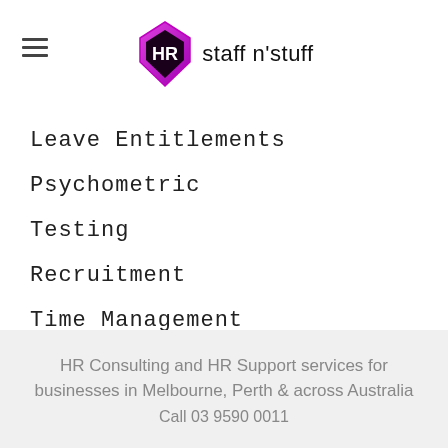[Figure (logo): HR Staff n'Stuff logo with pink/purple shield icon and text 'staff n'stuff']
Leave Entitlements
Psychometric
Testing
Recruitment
Time Management
RSS Feed
HR Consulting and HR Support services for businesses in Melbourne, Perth & across Australia
Call 03 9590 0011